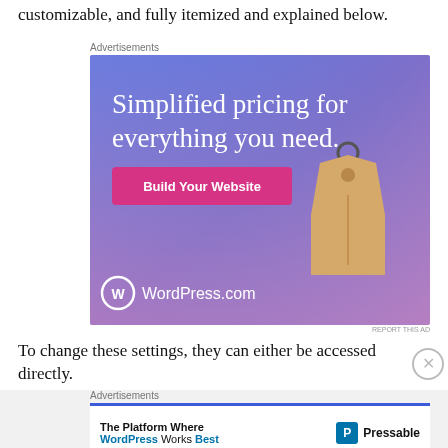customizable, and fully itemized and explained below.
Advertisements
[Figure (illustration): WordPress.com advertisement with gradient blue-pink background, text 'Simplified pricing for everything you need.', a pink 'Build Your Website' button, a hanging price tag image, and WordPress.com logo at bottom left.]
REPORT THIS AD
To change these settings, they can either be accessed directly.
Advertisements
[Figure (illustration): Pressable advertisement banner: 'The Platform Where WordPress Works Best' with Pressable logo on right.]